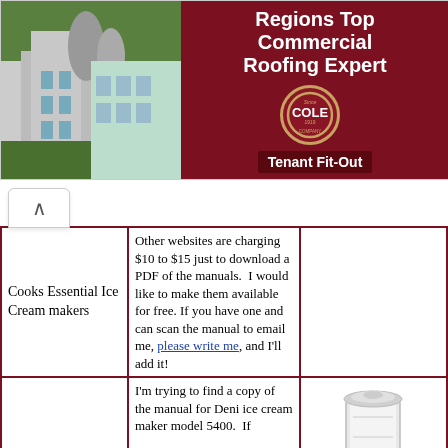[Figure (photo): Advertisement banner for Cole Roofing Company showing aerial photo of commercial building with Cole logo and text 'Regions Top Commercial Roofing Expert' and 'Tenant Fit-Out' on dark red background]
| Cooks Essential Ice Cream makers | Other websites are charging $10 to $15 just to download a PDF of the manuals.  I would like to make them available for free. If you have one and can scan the manual to email me, please write me, and I'll add it! |  |
|  | I'm trying to find a copy of the manual for Deni ice cream maker model 5400.  If |  |